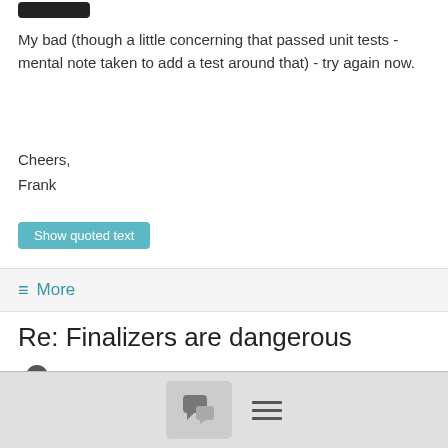[Figure (other): Dark rounded avatar/profile image block at top]
My bad (though a little concerning that passed unit tests - mental note taken to add a test around that) - try again now.
Cheers,
Frank
Show quoted text
≡  More
Re: Finalizers are dangerous
Yury Batrakov   2/05/18
Classification: Public
Hi Frank,
[Figure (other): Bottom navigation bar with chat bubble icon and hamburger menu icon]